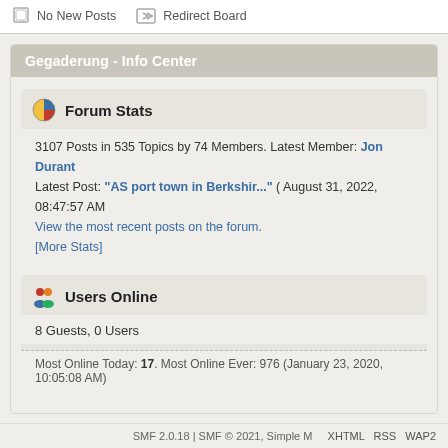No New Posts   Redirect Board
Gegaderung - Info Center
Forum Stats
3107 Posts in 535 Topics by 74 Members. Latest Member: Jon Durant
Latest Post: "AS port town in Berkshir..." ( August 31, 2022, 08:47:57 AM
View the most recent posts on the forum.
[More Stats]
Users Online
8 Guests, 0 Users
Most Online Today: 17. Most Online Ever: 976 (January 23, 2020, 10:05:08 AM)
SMF 2.0.18 | SMF © 2021, Simple M   XHTML   RSS   WAP2